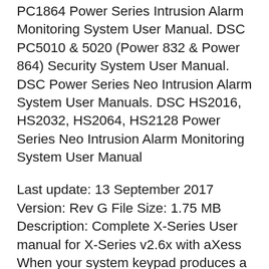PC1864 Power Series Intrusion Alarm Monitoring System User Manual. DSC PC5010 & 5020 (Power 832 & Power 864) Security System User Manual. DSC Power Series Neo Intrusion Alarm System User Manuals. DSC HS2016, HS2032, HS2064, HS2128 Power Series Neo Intrusion Alarm Monitoring System User Manual
Last update: 13 September 2017 Version: Rev G File Size: 1.75 MB Description: Complete X-Series User manual for X-Series v2.6x with aXess When your system keypad produces a low battery warning, the emergency backup battery in the control panel is low and needs to be recharged or